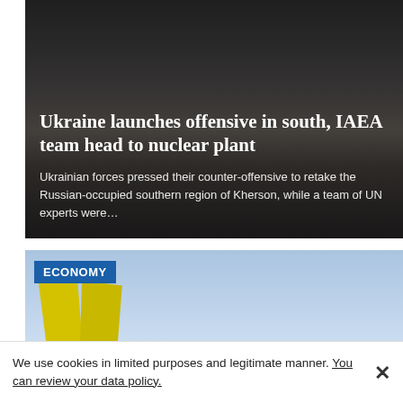[Figure (photo): War rubble scene, damaged building with debris, dark tones]
Ukraine launches offensive in south, IAEA team head to nuclear plant
Ukrainian forces pressed their counter-offensive to retake the Russian-occupied southern region of Kherson, while a team of UN experts were...
[Figure (photo): Yellow flags with nuclear/hazard symbol in front of a building with blue sky, ECONOMY badge overlay]
We use cookies in limited purposes and legitimate manner. You can review your data policy.